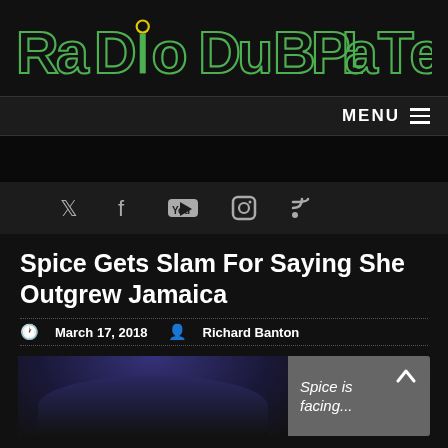RaDIo DuBPLaTe
MENU
Spice Gets Slam For Saying She Outgrew Jamaica
March 17, 2018   Richard Banton
[Figure (photo): Photo of Spice with blue/dark hair, partially visible at bottom of page]
Spice is facing...